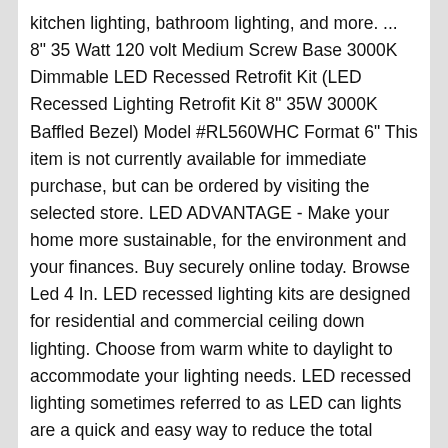kitchen lighting, bathroom lighting, and more. ... 8" 35 Watt 120 volt Medium Screw Base 3000K Dimmable LED Recessed Retrofit Kit (LED Recessed Lighting Retrofit Kit 8" 35W 3000K Baffled Bezel) Model #RL560WHC Format 6" This item is not currently available for immediate purchase, but can be ordered by visiting the selected store. LED ADVANTAGE - Make your home more sustainable, for the environment and your finances. Buy securely online today. Browse Led 4 In. LED recessed lighting kits are designed for residential and commercial ceiling down lighting. Choose from warm white to daylight to accommodate your lighting needs. LED recessed lighting sometimes referred to as LED can lights are a quick and easy way to reduce the total energy usage in your home of office. Lamp has color-